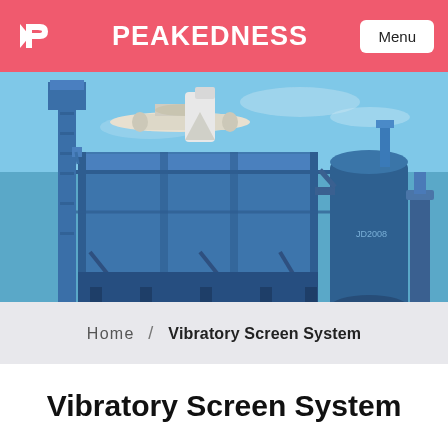PEAKEDNESS  Menu
[Figure (photo): Industrial blue-painted asphalt mixing plant/vibratory screen system machinery against a blue sky. Large cylindrical structure on the right, tall tower on the left, connected by pipes and structural steel.]
Home / Vibratory Screen System
Vibratory Screen System